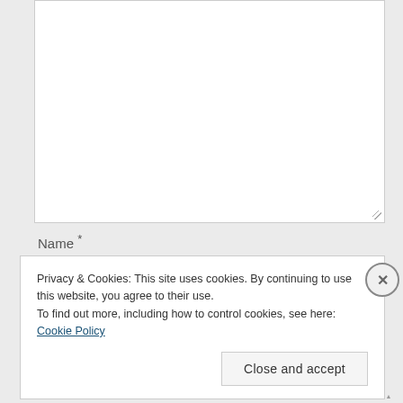[Figure (screenshot): White textarea input box with resize handle in lower right corner]
Name *
Privacy & Cookies: This site uses cookies. By continuing to use this website, you agree to their use.
To find out more, including how to control cookies, see here: Cookie Policy
Close and accept